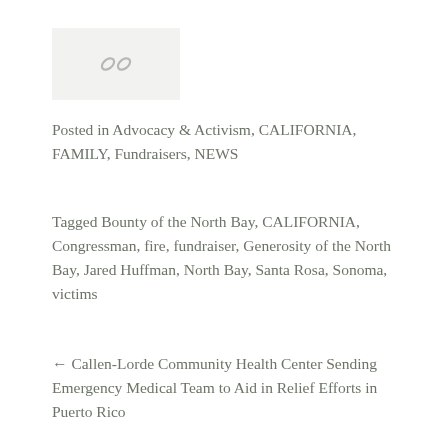[Figure (illustration): Chain link / share icon on a light gray background box]
Posted in Advocacy & Activism, CALIFORNIA, FAMILY, Fundraisers, NEWS
Tagged Bounty of the North Bay, CALIFORNIA, Congressman, fire, fundraiser, Generosity of the North Bay, Jared Huffman, North Bay, Santa Rosa, Sonoma, victims
← Callen-Lorde Community Health Center Sending Emergency Medical Team to Aid in Relief Efforts in Puerto Rico